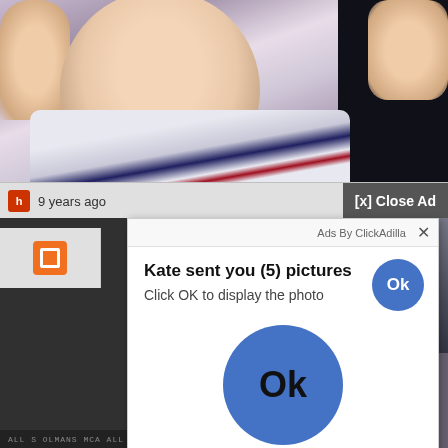[Figure (screenshot): Screenshot of a webpage showing a child in a sports jersey with an ad popup overlay. The popup says 'Kate sent you (5) pictures / Click OK to display the photo' with large blue Ok buttons. Toolbar shows '9 years ago' and '[x] Close Ad' button. ClickAdilla ad network branding visible.]
9 years ago
[x] Close Ad
Ads By ClickAdilla
Kate sent you (5) pictures
Click OK to display the photo
Ok
Ok
a1h